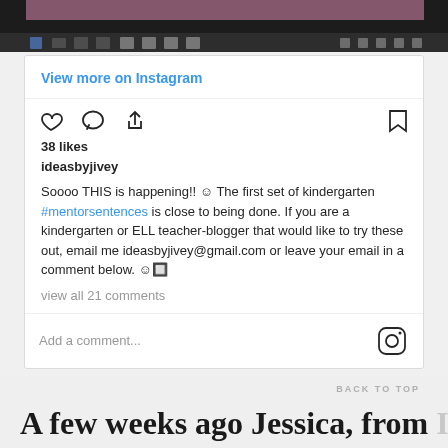[Figure (screenshot): Top portion of a computer screen showing a dark taskbar with browser icons]
View more on Instagram
[Figure (screenshot): Instagram action bar with heart, comment, share icons on left and bookmark icon on right]
38 likes
ideasbyjivey
Soooo THIS is happening!! ☺ The first set of kindergarten #mentorsentences is close to being done. If you are a kindergarten or ELL teacher-blogger that would like to try these out, email me ideasbyjivey@gmail.com or leave your email in a comment below.  ☺🔲
view all 21 comments
Add a comment...
BACK TO TOP
A few weeks ago Jessica, from Ideas